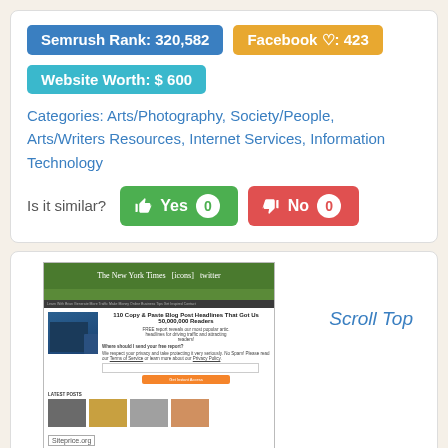Semrush Rank: 320,582
Facebook ♡: 423
Website Worth: $ 600
Categories: Arts/Photography, Society/People, Arts/Writers Resources, Internet Services, Information Technology
Is it similar?  Yes 0  No 0
[Figure (screenshot): Screenshot of a blog website showing '110 Copy & Paste Blog Post Headlines That Got Us 50,000,000 Readers' with a free report offer, email form, orange CTA button, and latest posts section with thumbnail images. Site labeled siteprice.org at bottom.]
Scroll Top